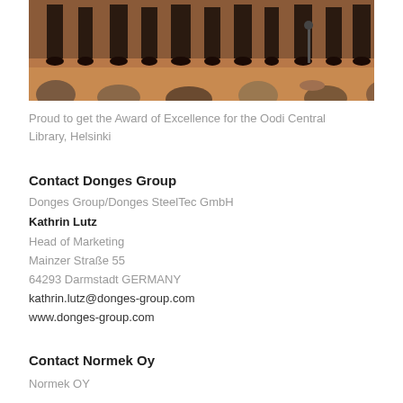[Figure (photo): Event photo showing people standing on a stage/platform from behind, with an audience in the foreground, taken at an awards ceremony.]
Proud to get the Award of Excellence for the Oodi Central Library, Helsinki
Contact Donges Group
Donges Group/Donges SteelTec GmbH
Kathrin Lutz
Head of Marketing
Mainzer Straße 55
64293 Darmstadt GERMANY
kathrin.lutz@donges-group.com
www.donges-group.com
Contact Normek Oy
Normek OY